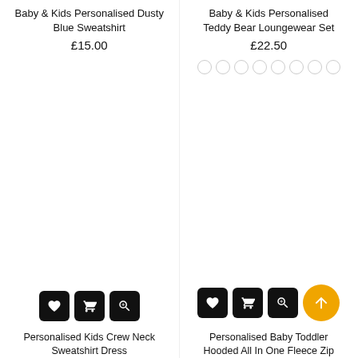Baby & Kids Personalised Dusty Blue Sweatshirt
£15.00
Baby & Kids Personalised Teddy Bear Loungewear Set
£22.50
[Figure (other): Color swatch circles (8 circles, all white/light with grey border)]
[Figure (other): Product action buttons: wishlist heart, cart, zoom icons (black rounded squares); right column also has scroll-to-top orange circle with arrow]
Personalised Kids Crew Neck Sweatshirt Dress
Personalised Baby Toddler Hooded All In One Fleece Zip